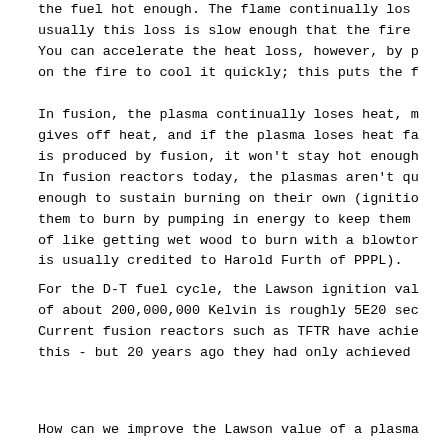the fuel hot enough.  The flame continually los usually this loss is slow enough that the fire You can accelerate the heat loss, however, by p on the fire to cool it quickly; this puts the f
In fusion, the plasma continually loses heat, m gives off heat, and if the plasma loses heat fa is produced by fusion, it won't stay hot enough In fusion reactors today, the plasmas aren't qu enough to sustain burning on their own (ignitio them to burn by pumping in energy to keep them of like getting wet wood to burn with a blowtor is usually credited to Harold Furth of PPPL).
For the D-T fuel cycle, the Lawson ignition val of about 200,000,000 Kelvin is roughly 5E20 sec Current fusion reactors such as TFTR have achie this - but 20 years ago they had only achieved
How can we improve the Lawson value of a plasma